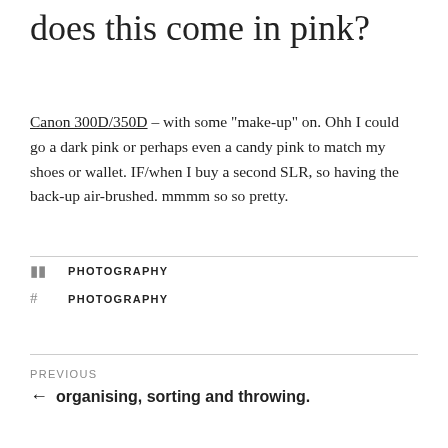does this come in pink?
Canon 300D/350D – with some "make-up" on. Ohh I could go a dark pink or perhaps even a candy pink to match my shoes or wallet. IF/when I buy a second SLR, so having the back-up air-brushed. mmmm so so pretty.
PHOTOGRAPHY (category)
PHOTOGRAPHY (tag)
PREVIOUS
← organising, sorting and throwing.